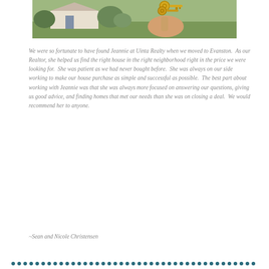[Figure (photo): A hand holding a bunch of keys, with a house in the background outdoors]
We were so fortunate to have found Jeannie at Uinta Realty when we moved to Evanston.  As our Realtor, she helped us find the right house in the right neighborhood right in the price we were looking for.  She was patient as we had never bought before.  She was always on our side working to make our house purchase as simple and successful as possible.  The best part about working with Jeannie was that she was always more focused on answering our questions, giving us good advice, and finding homes that met our needs than she was on closing a deal.  We would recommend her to anyone.
~Sean and Nicole Christensen